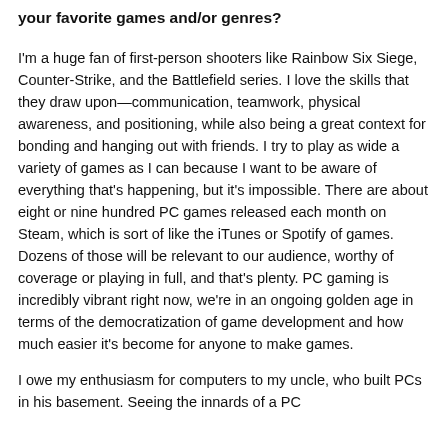your favorite games and/or genres?
I'm a huge fan of first-person shooters like Rainbow Six Siege, Counter-Strike, and the Battlefield series. I love the skills that they draw upon—communication, teamwork, physical awareness, and positioning, while also being a great context for bonding and hanging out with friends. I try to play as wide a variety of games as I can because I want to be aware of everything that's happening, but it's impossible. There are about eight or nine hundred PC games released each month on Steam, which is sort of like the iTunes or Spotify of games. Dozens of those will be relevant to our audience, worthy of coverage or playing in full, and that's plenty. PC gaming is incredibly vibrant right now, we're in an ongoing golden age in terms of the democratization of game development and how much easier it's become for anyone to make games.
I owe my enthusiasm for computers to my uncle, who built PCs in his basement. Seeing the innards of a PC...